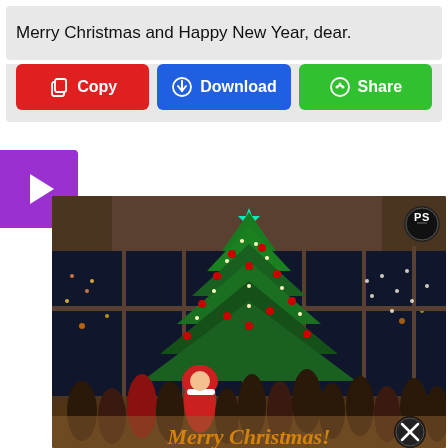Merry Christmas and Happy New Year, dear.
[Figure (screenshot): Three buttons: red Copy, blue Download, green Share]
[Figure (photo): Christmas scene photo with large decorated Christmas tree, crowd of people, Santa costumes, holiday lights, building interior, text overlay 'Merry Christmas!' at bottom, PS logo badge top right, close button bottom right]